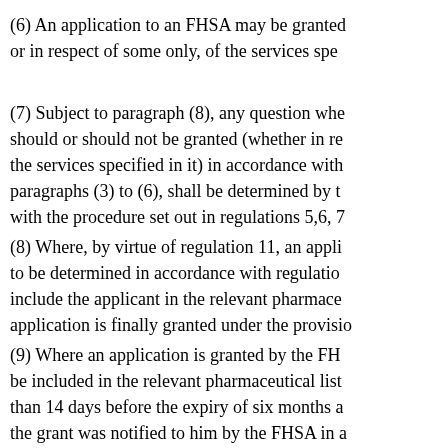(6) An application to an FHSA may be granted or in respect of some only, of the services spe...
(7) Subject to paragraph (8), any question whe... should or should not be granted (whether in re... the services specified in it) in accordance with paragraphs (3) to (6), shall be determined by t... with the procedure set out in regulations 5,6, 7...
(8) Where, by virtue of regulation 11, an appli... to be determined in accordance with regulatio... include the applicant in the relevant pharmace... application is finally granted under the provisio...
(9) Where an application is granted by the FH... be included in the relevant pharmaceutical list... than 14 days before the expiry of six months a... the grant was notified to him by the FHSA in a... regulation 7, or of such further period or perio... 24 months from the date of the grant, as it, or...